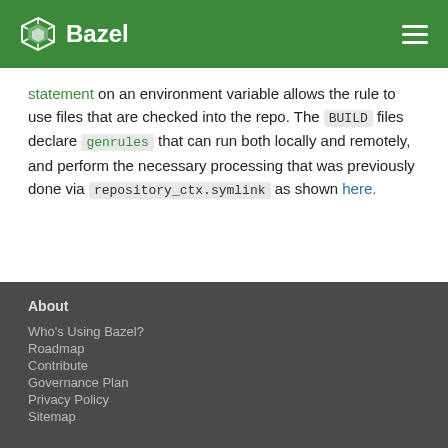Bazel
statement on an environment variable allows the rule to use files that are checked into the repo. The BUILD files declare genrules that can run both locally and remotely, and perform the necessary processing that was previously done via repository_ctx.symlink as shown here.
About
Who's Using Bazel?
Roadmap
Contribute
Governance Plan
Privacy Policy
Sitemap
Support